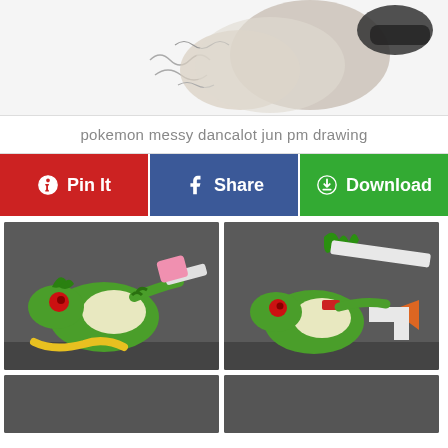[Figure (illustration): Partial view of a Pokemon drawing, showing a cartoon animal figure with wavy lines, gray and tan colors, top portion cropped]
pokemon messy dancalot jun pm drawing
[Figure (infographic): Three social action buttons: Pin It (red, Pinterest), Share (blue, Facebook), Download (green)]
[Figure (illustration): Comic panel showing a green Snivy Pokemon lying on its back holding a pink eraser]
[Figure (illustration): Comic panel showing a green Snivy Pokemon holding tools including a white object and orange triangle]
[Figure (illustration): Bottom left partial comic panel, dark gray background]
[Figure (illustration): Bottom right partial comic panel, dark gray background]